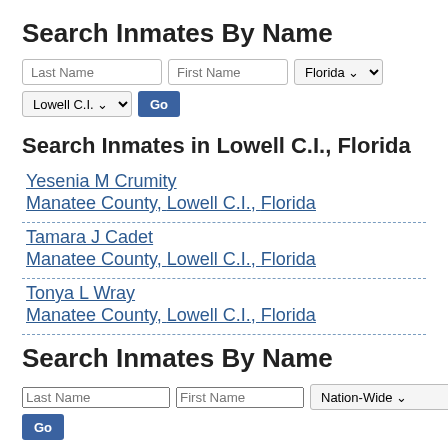Search Inmates By Name
Last Name | First Name | Florida | Lowell C.I. | Go
Search Inmates in Lowell C.I., Florida
Yesenia M Crumity
Manatee County, Lowell C.I., Florida
Tamara J Cadet
Manatee County, Lowell C.I., Florida
Tonya L Wray
Manatee County, Lowell C.I., Florida
Search Inmates By Name
Last Name | First Name | Nation-Wide | Go